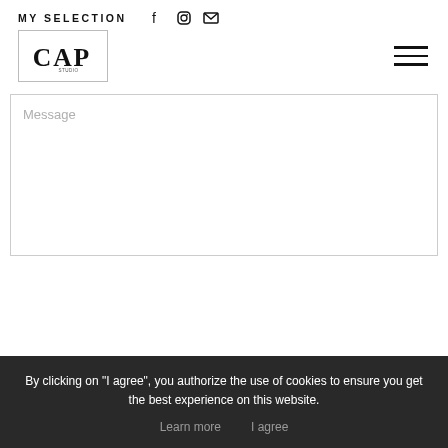MY SELECTION
[Figure (logo): CAP logo in a rectangular border]
Message
By clicking on "I agree", you authorize the use of cookies to ensure you get the best experience on this website.
Learn more   I agree